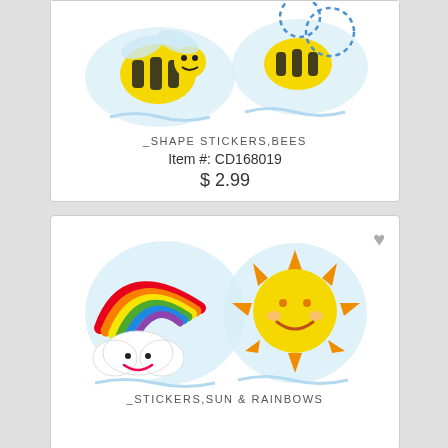[Figure (illustration): Shape stickers with bees illustration - two bee stickers on light blue background]
_SHAPE STICKERS,BEES
Item #: CD168019
$ 2.99
[Figure (illustration): Stickers with sun and rainbows - a smiling cloud with rainbow and a smiling sun on light blue backgrounds]
_STICKERS,SUN & RAINBOWS